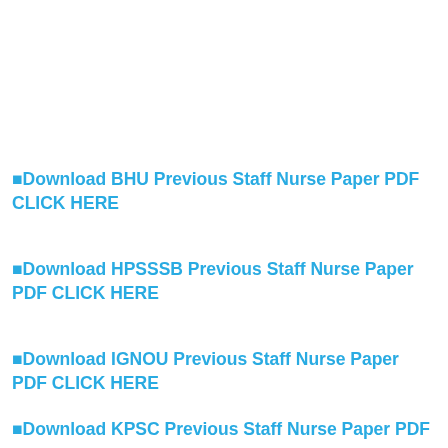⬛Download BHU Previous Staff Nurse Paper PDF CLICK HERE
⬛Download HPSSSB Previous Staff Nurse Paper PDF CLICK HERE
⬛Download IGNOU Previous Staff Nurse Paper PDF CLICK HERE
⬛Download KPSC Previous Staff Nurse Paper PDF